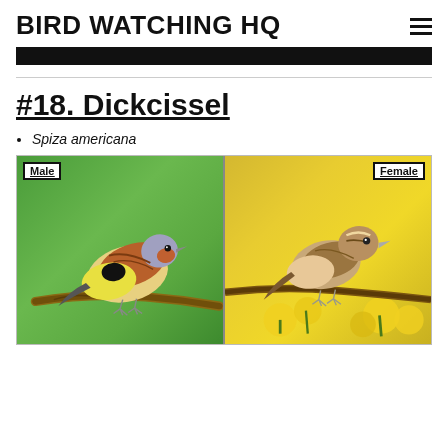BIRD WATCHING HQ
#18. Dickcissel
Spiza americana
[Figure (photo): Side-by-side photos of male and female Dickcissel birds. Left half shows male Dickcissel perched on a branch against a green background, labeled 'Male'. Right half shows female Dickcissel perched among yellow flowers against a yellow background, labeled 'Female'.]